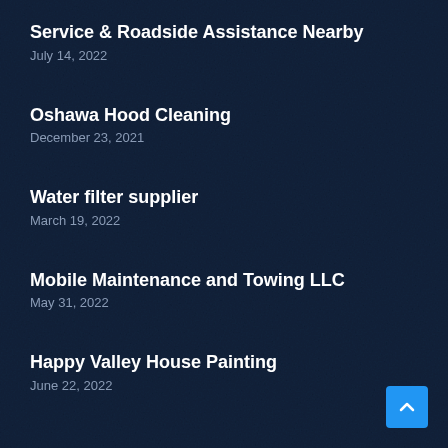Service & Roadside Assistance Nearby
July 14, 2022
Oshawa Hood Cleaning
December 23, 2021
Water filter supplier
March 19, 2022
Mobile Maintenance and Towing LLC
May 31, 2022
Happy Valley House Painting
June 22, 2022